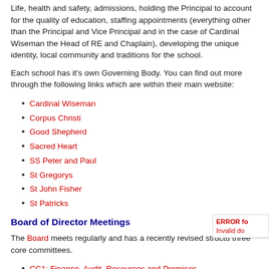Life, health and safety, admissions, holding the Principal to account for the quality of education, staffing appointments (everything other than the Principal and Vice Principal and in the case of Cardinal Wiseman the Head of RE and Chaplain), developing the unique identity, local community and traditions for the school.
Each school has it's own Governing Body. You can find out more through the following links which are within their main website:
Cardinal Wiseman
Corpus Christi
Good Shepherd
Sacred Heart
SS Peter and Paul
St Gregorys
St John Fisher
St Patricks
Board of Director Meetings
The Board meets regularly and has a recently revised structure with three core committees.
CC1: Finance, Audit, Resources and Premises